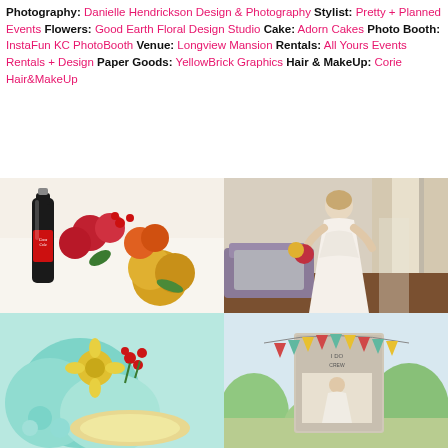Photography: Danielle Hendrickson Design & Photography Stylist: Pretty + Planned Events Flowers: Good Earth Floral Design Studio Cake: Adorn Cakes Photo Booth: InstaFun KC PhotoBooth Venue: Longview Mansion Rentals: All Yours Events Rentals + Design Paper Goods: YellowBrick Graphics Hair & MakeUp: Corie Hair&MakeUp
[Figure (photo): Close-up of a Coca-Cola glass bottle surrounded by colorful wedding flowers including red, yellow, and orange blooms on a white surface]
[Figure (photo): Bride in a white lace wedding dress standing in a bright room with windows, holding a colorful bouquet]
[Figure (photo): Close-up of teal/mint colored wedding decorations with colorful flowers including yellow, red and green]
[Figure (photo): Photo booth setup with colorful bunting banner outdoors, showing a framed photo display]